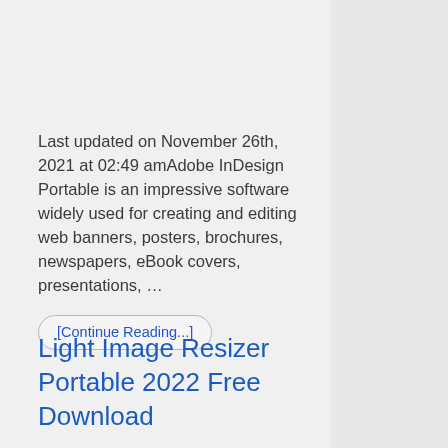Last updated on November 26th, 2021 at 02:49 amAdobe InDesign Portable is an impressive software widely used for creating and editing web banners, posters, brochures, newspapers, eBook covers, presentations, …
[Continue Reading...]
Light Image Resizer Portable 2022 Free Download